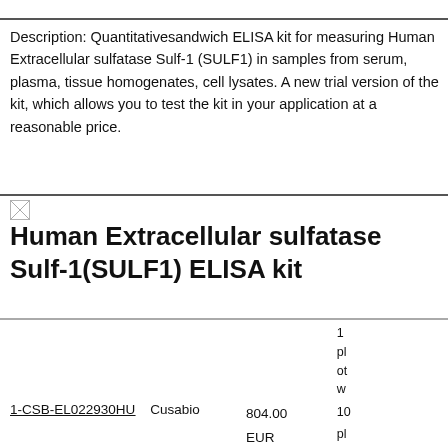Description: Quantitativesandwich ELISA kit for measuring Human Extracellular sulfatase Sulf-1 (SULF1) in samples from serum, plasma, tissue homogenates, cell lysates. A new trial version of the kit, which allows you to test the kit in your application at a reasonable price.
[Figure (other): Small image icon (broken/placeholder image)]
Human Extracellular sulfatase Sulf-1(SULF1) ELISA kit
|  |  | Price | Description (partial) |
| --- | --- | --- | --- |
| 1-CSB-EL022930HU | Cusabio | 804.00 EUR
5099.00 EUR
2704.00 EUR
(EUR) | 1...
pl...
ot...
w...
ea...
F... |